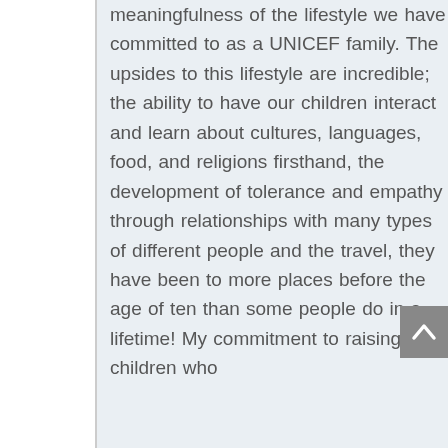meaningfulness of the lifestyle we have committed to as a UNICEF family. The upsides to this lifestyle are incredible; the ability to have our children interact and learn about cultures, languages, food, and religions firsthand, the development of tolerance and empathy through relationships with many types of different people and the travel, they have been to more places before the age of ten than some people do in a lifetime! My commitment to raising children who